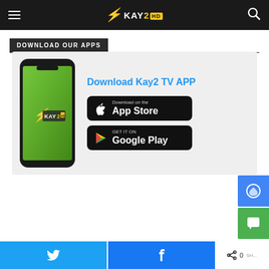KAY2 HD — Navigation header with hamburger menu, logo, and search icon
DOWNLOAD OUR APPS
[Figure (illustration): Download Kay2 TV APP promotional card showing a smartphone with Kay2 HD logo on green background, alongside App Store and Google Play download buttons]
Twitter share button | Facebook share button | Share (0)